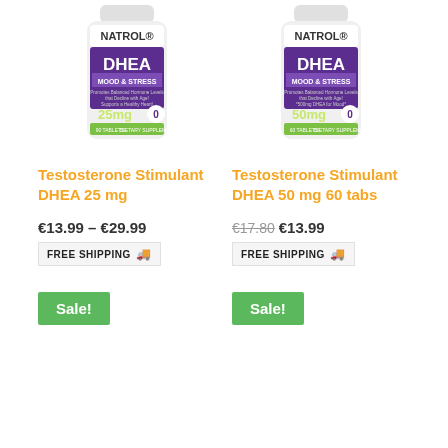[Figure (photo): Natrol DHEA Mood & Stress 25mg supplement bottle]
[Figure (photo): Natrol DHEA Mood & Stress 50mg supplement bottle]
Testosterone Stimulant DHEA 25 mg
Testosterone Stimulant DHEA 50 mg 60 tabs
€13.99 – €29.99
€17.80 €13.99
FREE SHIPPING
FREE SHIPPING
Sale!
Sale!